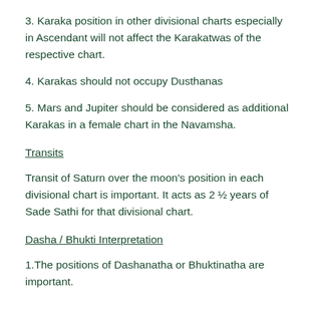3. Karaka position in other divisional charts especially in Ascendant will not affect the Karakatwas of the respective chart.
4. Karakas should not occupy Dusthanas
5. Mars and Jupiter should be considered as additional Karakas in a female chart in the Navamsha.
Transits
Transit of Saturn over the moon's position in each divisional chart is important. It acts as 2 ½ years of Sade Sathi for that divisional chart.
Dasha / Bhukti Interpretation
1.The positions of Dashanatha or Bhuktinatha are important.